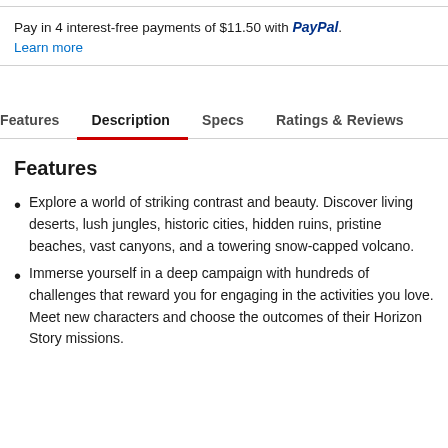Pay in 4 interest-free payments of $11.50 with PayPal.
Learn more
Features | Description | Specs | Ratings & Reviews
Features
Explore a world of striking contrast and beauty. Discover living deserts, lush jungles, historic cities, hidden ruins, pristine beaches, vast canyons, and a towering snow-capped volcano.
Immerse yourself in a deep campaign with hundreds of challenges that reward you for engaging in the activities you love. Meet new characters and choose the outcomes of their Horizon Story missions.